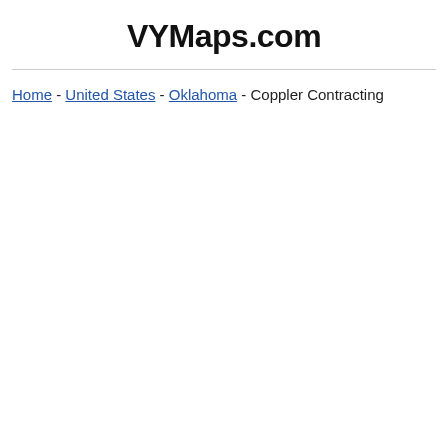VYMaps.com
Home - United States - Oklahoma - Coppler Contracting